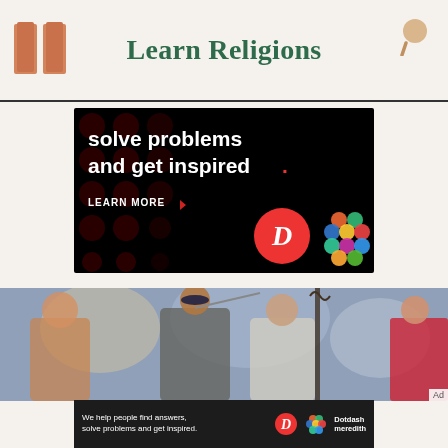Learn Religions
[Figure (other): Advertisement banner on black background with dark red dots pattern. Text reads 'solve problems and get inspired.' with 'LEARN MORE' button and Dotdash Meredith logos.]
[Figure (photo): Theater scene with actors on stage, one wearing a kippah raising hand with rope, another smiling, colorful painted backdrop visible. Ad label in corner.]
[Figure (other): Bottom advertisement bar: 'We help people find answers, solve problems and get inspired.' with Dotdash Meredith logo.]